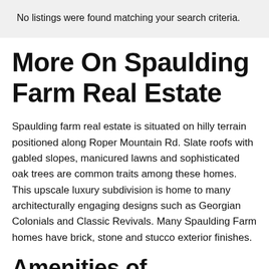No listings were found matching your search criteria.
More On Spaulding Farm Real Estate
Spaulding farm real estate is situated on hilly terrain positioned along Roper Mountain Rd. Slate roofs with gabled slopes, manicured lawns and sophisticated oak trees are common traits among these homes. This upscale luxury subdivision is home to many architecturally engaging designs such as Georgian Colonials and Classic Revivals. Many Spaulding Farm homes have brick, stone and stucco exterior finishes.
Amenities of Spaulding Farm